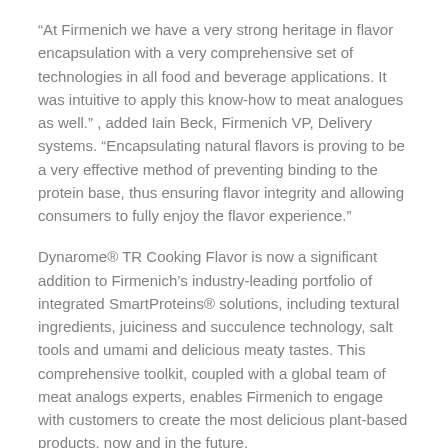“At Firmenich we have a very strong heritage in flavor encapsulation with a very comprehensive set of technologies in all food and beverage applications. It was intuitive to apply this know-how to meat analogues as well.” , added Iain Beck, Firmenich VP, Delivery systems. “Encapsulating natural flavors is proving to be a very effective method of preventing binding to the protein base, thus ensuring flavor integrity and allowing consumers to fully enjoy the flavor experience.”
Dynarome® TR Cooking Flavor is now a significant addition to Firmenich’s industry-leading portfolio of integrated SmartProteins® solutions, including textural ingredients, juiciness and succulence technology, salt tools and umami and delicious meaty tastes. This comprehensive toolkit, coupled with a global team of meat analogs experts, enables Firmenich to engage with customers to create the most delicious plant-based products, now and in the future.